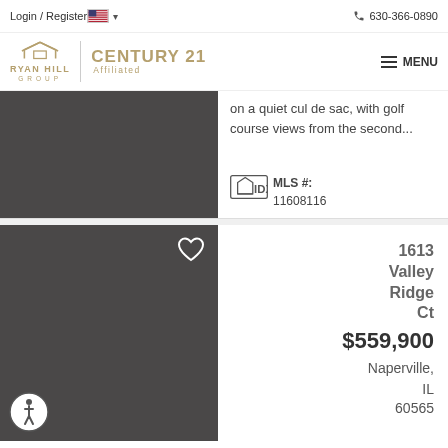Login / Register   630-366-0890
[Figure (logo): Ryan Hill Group Century 21 Affiliated logo with MENU button]
on a quiet cul de sac, with golf course views from the second...
MLS #: 11608116
[Figure (photo): Dark gray placeholder image for property listing with heart icon]
1613 Valley Ridge Ct
$559,900
Naperville, IL
60565